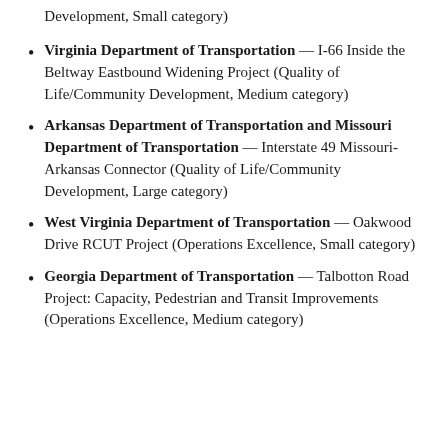Development, Small category)
Virginia Department of Transportation — I-66 Inside the Beltway Eastbound Widening Project (Quality of Life/Community Development, Medium category)
Arkansas Department of Transportation and Missouri Department of Transportation — Interstate 49 Missouri-Arkansas Connector (Quality of Life/Community Development, Large category)
West Virginia Department of Transportation — Oakwood Drive RCUT Project (Operations Excellence, Small category)
Georgia Department of Transportation — Talbotton Road Project: Capacity, Pedestrian and Transit Improvements (Operations Excellence, Medium category)